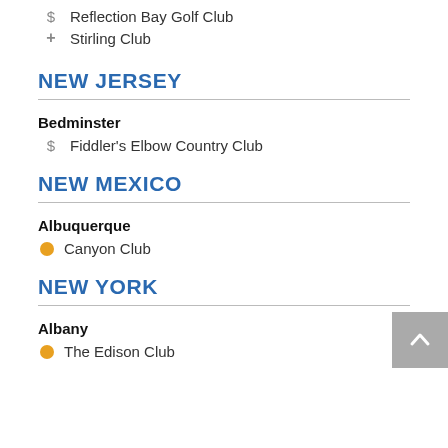$ Reflection Bay Golf Club
+ Stirling Club
NEW JERSEY
Bedminster
$ Fiddler's Elbow Country Club
NEW MEXICO
Albuquerque
Canyon Club
NEW YORK
Albany
The Edison Club